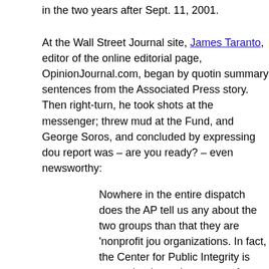in the two years after Sept. 11, 2001.
At the Wall Street Journal site, James Taranto, editor of the online editorial page, OpinionJournal.com, began by quoting summary sentences from the Associated Press story. Then right-turn, he took shots at the messenger; threw mud at the Fund, and George Soros, and concluded by expressing doubts report was – are you ready? – even newsworthy:
Nowhere in the entire dispatch does the AP tell us any about the two groups than that they are 'nonprofit jour organizations. In fact, the Center for Public Integrity is group that has taken money from George Soros, who compared contemporary America to Nazi Germany. T Independence in Journalism seems to be but a spinof says its "primary purpose is providing legal defense a endowment support" for the center.
Certainly if the AP is going to report on this "study," it disclose the political leanings of the groups that spons Though come to think of it, given those political leaning see why this is even newsworthy.
Had Soros likened "contemporary America to Nazi Germany would have his readers infer? No, he had not. You can reac actually said, in context, and how Taranto twisted it, here, a